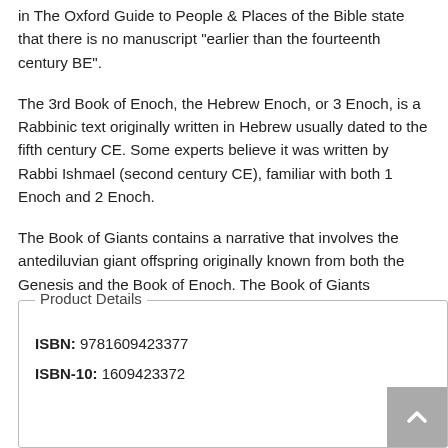in The Oxford Guide to People & Places of the Bible state that there is no manuscript "earlier than the fourteenth century BE".
The 3rd Book of Enoch, the Hebrew Enoch, or 3 Enoch, is a Rabbinic text originally written in Hebrew usually dated to the fifth century CE. Some experts believe it was written by Rabbi Ishmael (second century CE), familiar with both 1 Enoch and 2 Enoch.
The Book of Giants contains a narrative that involves the antediluvian giant offspring originally known from both the Genesis and the Book of Enoch. The Book of Giants resembles particularly 1 Enoch: The First Book of Enoch.
Product Details
ISBN: 9781609423377
ISBN-10: 1609423372